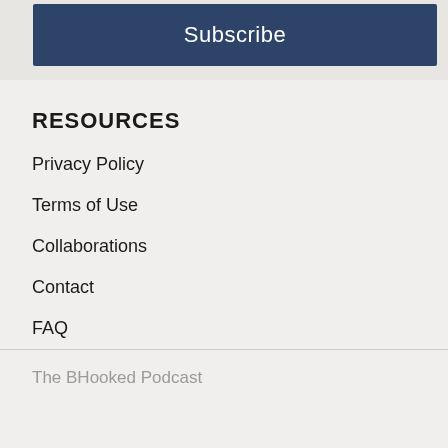Subscribe
RESOURCES
Privacy Policy
Terms of Use
Collaborations
Contact
FAQ
The BHooked Podcast